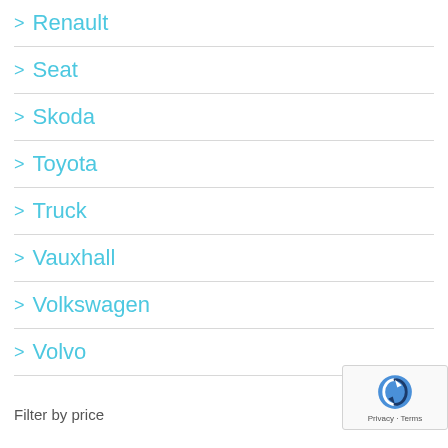> Renault
> Seat
> Skoda
> Toyota
> Truck
> Vauxhall
> Volkswagen
> Volvo
Filter by price